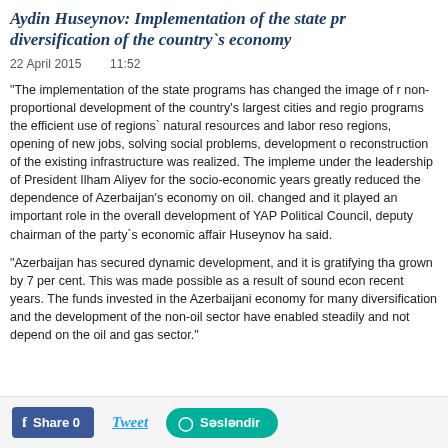Aydin Huseynov: Implementation of the state pr diversification of the country`s economy
22 April 2015    11:52
“The implementation of the state programs has changed the image of r non-proportional development of the country’s largest cities and regio programs the efficient use of regions` natural resources and labor reso regions, opening of new jobs, solving social problems, development o reconstruction of the existing infrastructure was realized. The impleme under the leadership of President Ilham Aliyev for the socio-economic years greatly reduced the dependence of Azerbaijan’s economy on oil. changed and it played an important role in the overall development of YAP Political Council, deputy chairman of the party`s economic affair Huseynov ha said.
“Azerbaijan has secured dynamic development, and it is gratifying tha grown by 7 per cent. This was made possible as a result of sound econ recent years. The funds invested in the Azerbaijani economy for many diversification and the development of the non-oil sector have enabled steadily and not depend on the oil and gas sector.”